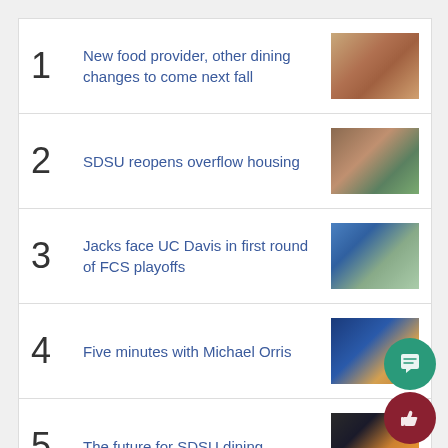1 New food provider, other dining changes to come next fall
2 SDSU reopens overflow housing
3 Jacks face UC Davis in first round of FCS playoffs
4 Five minutes with Michael Orris
5 The future for SDSU dining